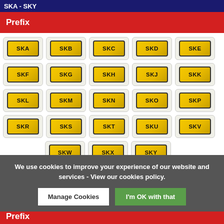SKA - SKY
Prefix
[Figure (other): Grid of UK prefix number plate badges: SKA, SKB, SKC, SKD, SKE, SKF, SKG, SKH, SKJ, SKK, SKL, SKM, SKN, SKO, SKP, SKR, SKS, SKT, SKU, SKV, SKW, SKX, SKY]
We use cookies to improve your experience of our website and services - View our cookies policy.
Manage Cookies
I'm OK with that
SLA - SLY
Prefix